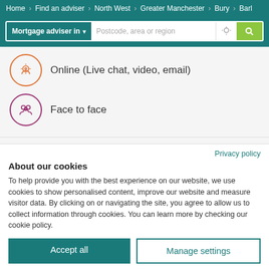Home > Find an adviser > North West > Greater Manchester > Bury > Barl
[Figure (screenshot): Search bar with 'Mortgage adviser in' dropdown and 'Postcode, area or region' input field, location icon, and green search button]
Online (Live chat, video, email)
Face to face
Privacy policy
About our cookies
To help provide you with the best experience on our website, we use cookies to show personalised content, improve our website and measure visitor data. By clicking on or navigating the site, you agree to allow us to collect information through cookies. You can learn more by checking our cookie policy.
Accept all
Manage settings